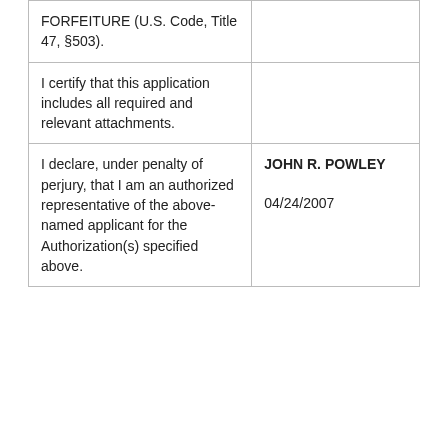| FORFEITURE (U.S. Code, Title 47, §503). |  |
| I certify that this application includes all required and relevant attachments. |  |
| I declare, under penalty of perjury, that I am an authorized representative of the above-named applicant for the Authorization(s) specified above. | JOHN R. POWLEY
04/24/2007 |